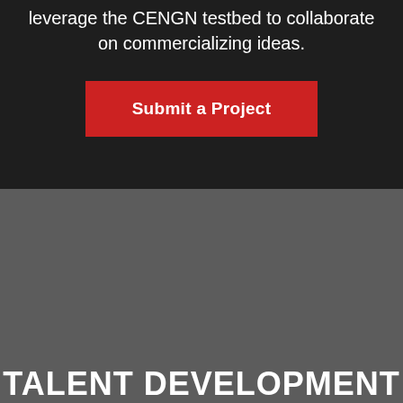leverage the CENGN testbed to collaborate on commercializing ideas.
Submit a Project
TALENT DEVELOPMENT